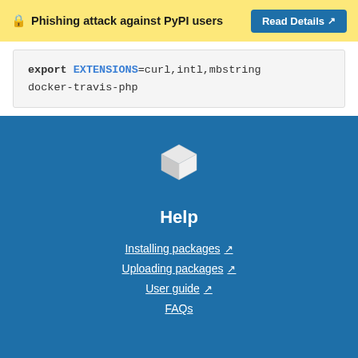🔒 Phishing attack against PyPI users — Read Details
export EXTENSIONS=curl,intl,mbstring
docker-travis-php
[Figure (logo): White 3D cube/box icon on blue background — PyPI logo]
Help
Installing packages ↗
Uploading packages ↗
User guide ↗
FAQs